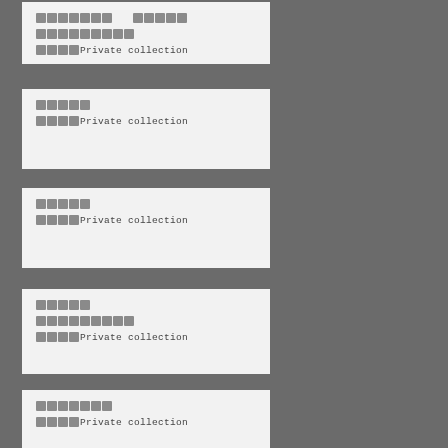░░░░░░░ ░░░░░ / ░░░░░░░░░ / ░░░░Private collection
░░░░░ / ░░░░Private collection
░░░░░ / ░░░░Private collection
░░░░░ / ░░░░░░░░░ / ░░░░Private collection
░░░░░░░ / ░░░░Private collection